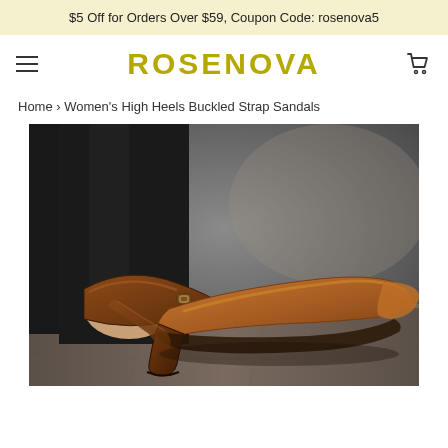$5 Off for Orders Over $59, Coupon Code: rosenova5
ROSENOVA
Home › Women's High Heels Buckled Strap Sandals
[Figure (photo): Close-up photo of a woman's foot wearing a brown leather high heel buckled strap sandal, resting on a stone surface. The shoe features a pointed toe, chunky heel, and an ankle strap with a buckle. The person is wearing black pants.]